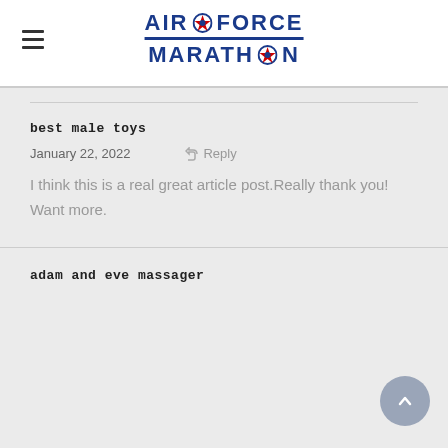AIR FORCE MARATHON
best male toys
January 22, 2022    Reply
I think this is a real great article post.Really thank you! Want more.
adam and eve massager